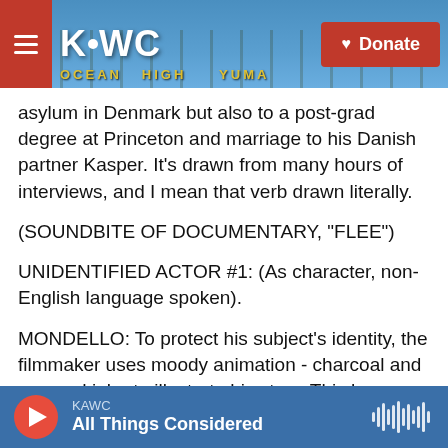[Figure (screenshot): KAWC radio station website header with logo, hamburger menu, and Donate button over a background photo of a stadium/arena structure.]
asylum in Denmark but also to a post-grad degree at Princeton and marriage to his Danish partner Kasper. It's drawn from many hours of interviews, and I mean that verb drawn literally.
(SOUNDBITE OF DOCUMENTARY, "FLEE")
UNIDENTIFIED ACTOR #1: (As character, non-English language spoken).
MONDELLO: To protect his subject's identity, the filmmaker uses moody animation - charcoal and pen and ink - to illustrate his story. This has advantages, not least that he can show anecdotes
KAWC  All Things Considered